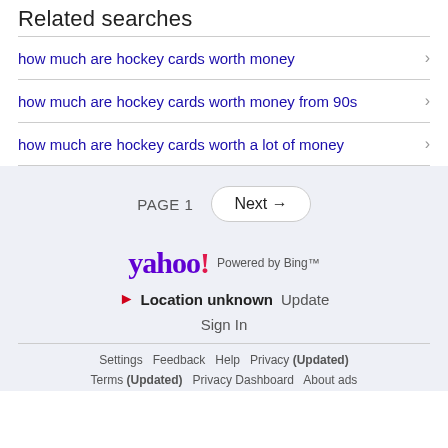Related searches
how much are hockey cards worth money
how much are hockey cards worth money from 90s
how much are hockey cards worth a lot of money
PAGE 1  Next →
[Figure (logo): Yahoo! logo with 'Powered by Bing™' text to the right]
Location unknown  Update
Sign In
Settings  Feedback  Help  Privacy (Updated)  Terms (Updated)  Privacy Dashboard  About ads